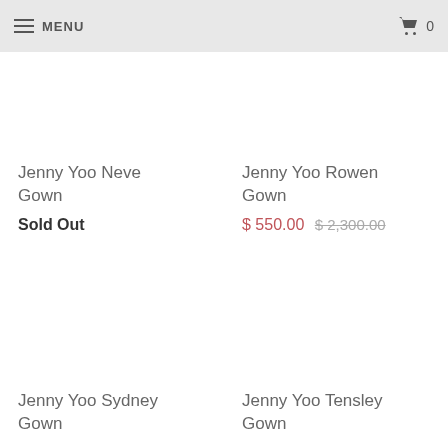MENU  0
Jenny Yoo Neve Gown
Sold Out
Jenny Yoo Rowen Gown
$ 550.00  $ 2,300.00
Jenny Yoo Sydney Gown
Jenny Yoo Tensley Gown